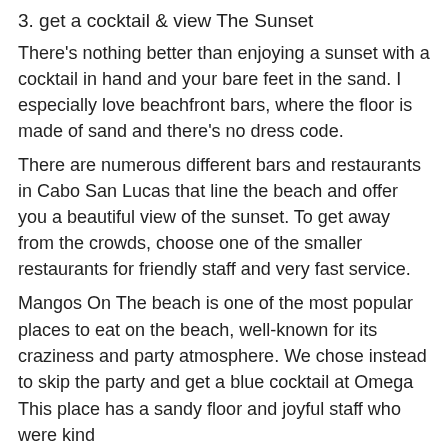3. get a cocktail & view The Sunset
There's nothing better than enjoying a sunset with a cocktail in hand and your bare feet in the sand. I especially love beachfront bars, where the floor is made of sand and there's no dress code.
There are numerous different bars and restaurants in Cabo San Lucas that line the beach and offer you a beautiful view of the sunset. To get away from the crowds, choose one of the smaller restaurants for friendly staff and very fast service.
Mangos On The beach is one of the most popular places to eat on the beach, well-known for its craziness and party atmosphere. We chose instead to skip the party and get a blue cocktail at Omega sports Bar next door where everyone sits outside.
This place has a sandy floor and joyful staff who were kind